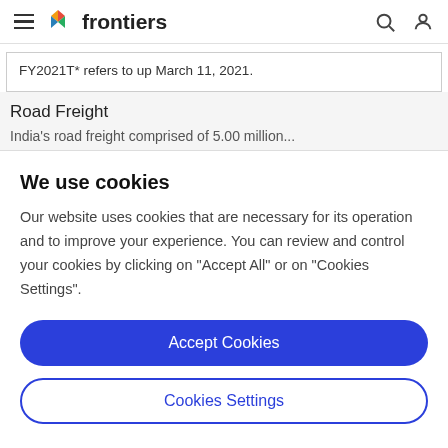frontiers
FY2021T* refers to up March 11, 2021.
Road Freight
India's road freight comprised of 5.00 million...
We use cookies
Our website uses cookies that are necessary for its operation and to improve your experience. You can review and control your cookies by clicking on "Accept All" or on "Cookies Settings".
Accept Cookies
Cookies Settings